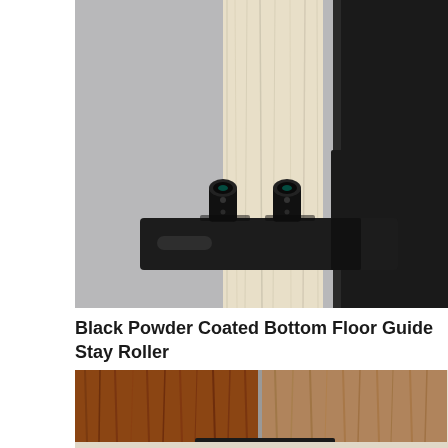[Figure (photo): Close-up photo of a black powder coated bottom floor guide stay roller mounted on a grey floor surface, with a light wood barn door sliding through the roller guide and a dark panel on the right side.]
Black Powder Coated Bottom Floor Guide Stay Roller
[Figure (photo): Partial photo showing the bottom edge of a wood-grain barn door (brown/teak finish) and an adjacent lighter wood panel on a light floor, with a black floor guide visible at bottom.]